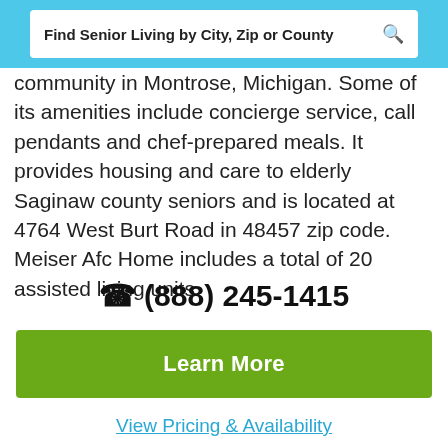Find Senior Living by City, Zip or County
community in Montrose, Michigan. Some of its amenities include concierge service, call pendants and chef-prepared meals. It provides housing and care to elderly Saginaw county seniors and is located at 4764 West Burt Road in 48457 zip code. Meiser Afc Home includes a total of 20 assisted living units.
(888) 245-1415
Learn More
View Pricing & Availability